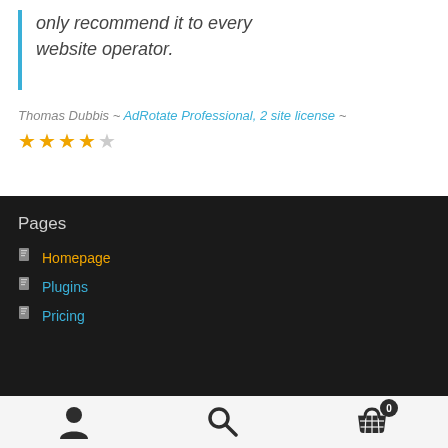only recommend it to every website operator.
Thomas Dubbis ~ AdRotate Professional, 2 site license ~
[Figure (other): 5 gold star rating]
Pages
Homepage
Plugins
Pricing
[Figure (other): Bottom navigation bar with user icon, search icon, and cart icon with badge showing 0]